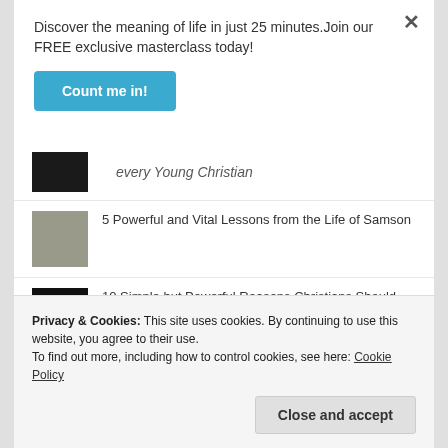Discover the meaning of life in just 25 minutes.Join our FREE exclusive masterclass today!
Count me in!
every Young Christian
5 Powerful and Vital Lessons from the Life of Samson
10 Simple but Powerful Reasons Christians Should not Celebrate Valentine's Day
Privacy & Cookies: This site uses cookies. By continuing to use this website, you agree to their use.
To find out more, including how to control cookies, see here: Cookie Policy
Close and accept